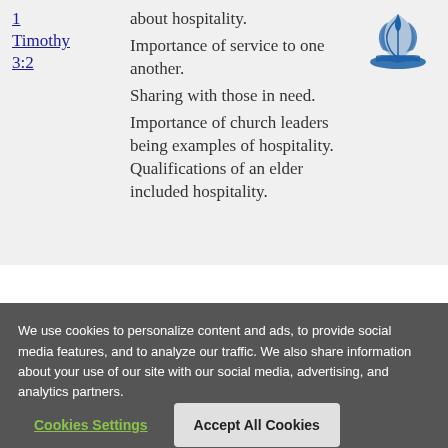1 Timothy 3:2
about hospitality. Importance of service to one another. Sharing with those in need. Importance of church leaders being examples of hospitality. Qualifications of an elder included hospitality.
[Figure (logo): Seventh-day Adventist Church logo — blue flame/book icon]
We use cookies to personalize content and ads, to provide social media features, and to analyze our traffic. We also share information about your use of our site with our social media, advertising, and analytics partners.
Cookies Settings
Accept All Cookies